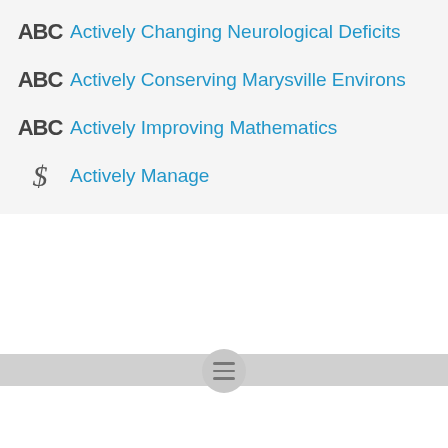Actively Changing Neurological Deficits
Actively Conserving Marysville Environs
Actively Improving Mathematics
Actively Manage